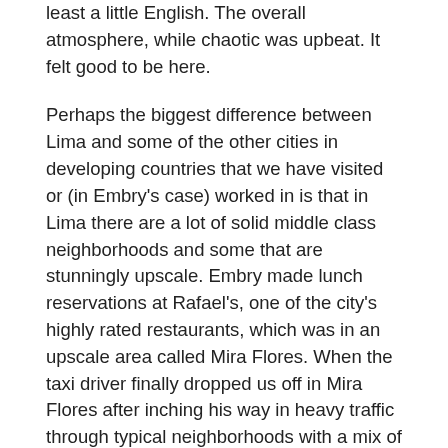least a little English. The overall atmosphere, while chaotic was upbeat. It felt good to be here.
Perhaps the biggest difference between Lima and some of the other cities in developing countries that we have visited or (in Embry's case) worked in is that in Lima there are a lot of solid middle class neighborhoods and some that are stunningly upscale. Embry made lunch reservations at Rafael's, one of the city's highly rated restaurants, which was in an upscale area called Mira Flores. When the taxi driver finally dropped us off in Mira Flores after inching his way in heavy traffic through typical neighborhoods with a mix of housing, some in pretty bad shape, we thought we had ended up in Miami Beach. Sparkling high rise apartments, 15-plus stories tall, towered  above the broad streets above the cliffs over looking the blue Pacific. Beautiful townhomes with tiny manicured gardens lined most side streets. The neighborhood was quiet, and there was no trash to be seen.
And so we have in Lima Exhibit A of the challenges associated